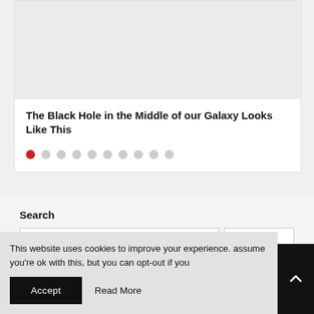[Figure (photo): Image placeholder for article about black hole in the middle of our galaxy]
The Black Hole in the Middle of our Galaxy Looks Like This
[Figure (infographic): Pagination dots — first dot active (red), nine inactive (gray)]
Search
This website uses cookies to improve your experience. assume you're ok with this, but you can opt-out if you